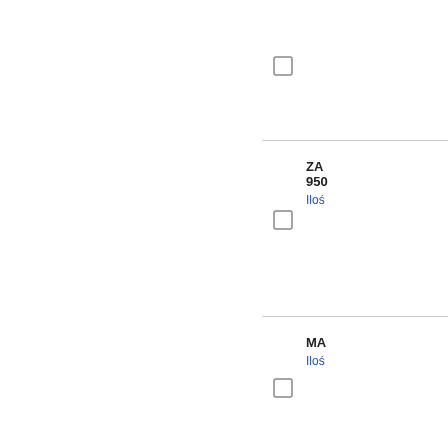[Figure (other): Partial product card at top, clipped, with checkbox]
ZA... 950... Ilość
MA... Ilość
MA... Ilość